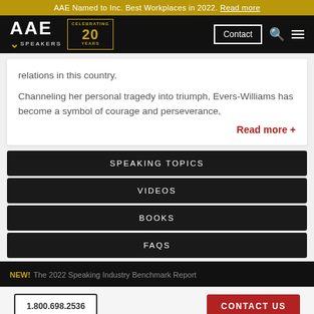AAE Named to Inc. Best Workplaces in 2022. Read more
[Figure (logo): AAE Speakers logo with Celebrating 20 Years badge, Contact button, search and menu icons on black navigation bar]
relations in this country.
Channeling her personal tragedy into triumph, Evers-Williams has become a symbol of courage and perseverance,
Read more +
SPEAKING TOPICS
VIDEOS
BOOKS
FAQS
NEW! The 2022 Speaking Industry Benchmark Report
1.800.698.2536   CONTACT US